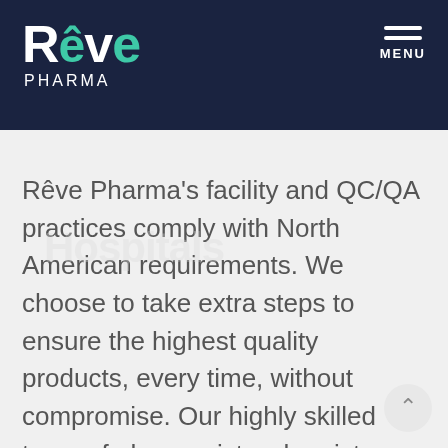Rêve Pharma — MENU
Hospitals
Rêve Pharma's facility and QC/QA practices comply with North American requirements. We choose to take extra steps to ensure the highest quality products, every time, without compromise. Our highly skilled team of pharmacists, chemists, microbiologists, and trained compounding technicians provide you with customized solutions with a focus on efficiency, transparency, and customer service.